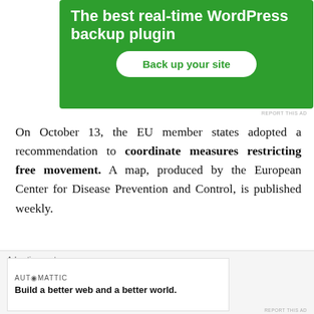[Figure (screenshot): Green advertisement banner for WordPress backup plugin with white bold text 'The best real-time WordPress backup plugin' and a white rounded button 'Back up your site']
REPORT THIS AD
On October 13, the EU member states adopted a recommendation to coordinate measures restricting free movement. A map, produced by the European Center for Disease Prevention and Control, is published weekly.
Faced with the worsening health crisis in the United
[Figure (screenshot): Bottom advertisement overlay with 'Advertisements' label and Automattic ad: 'Build a better web and a better world.']
REPORT THIS AD